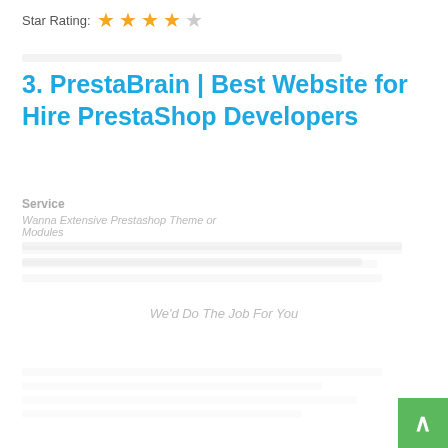Star Rating: ★ ★ ★ ★ ☆
3. PrestaBrain | Best Website for Hire PrestaShop Developers
Service
Wanna Extensive Prestashop Theme or Modules
We'd Do The Job For You